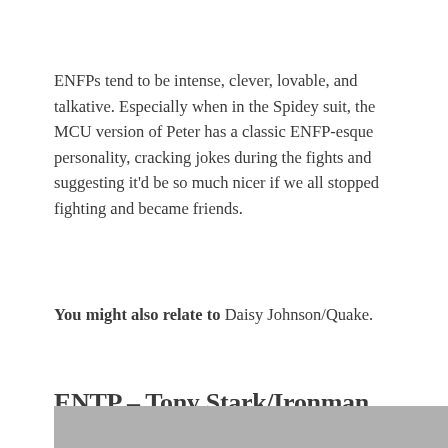ENFPs tend to be intense, clever, lovable, and talkative. Especially when in the Spidey suit, the MCU version of Peter has a classic ENFP-esque personality, cracking jokes during the fights and suggesting it'd be so much nicer if we all stopped fighting and became friends.
You might also relate to Daisy Johnson/Quake.
ENTP – Tony Stark/Ironman
[Figure (photo): Partial photo strip at the bottom of the page, cropped.]